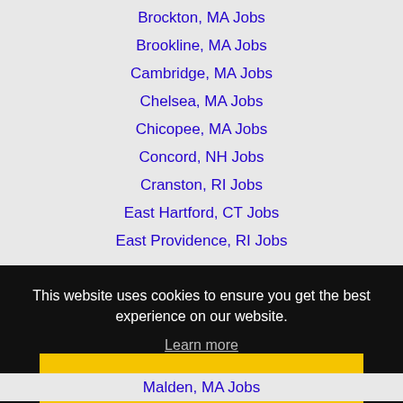Brockton, MA Jobs
Brookline, MA Jobs
Cambridge, MA Jobs
Chelsea, MA Jobs
Chicopee, MA Jobs
Concord, NH Jobs
Cranston, RI Jobs
East Hartford, CT Jobs
East Providence, RI Jobs
This website uses cookies to ensure you get the best experience on our website.
Learn more
Got it!
Malden, MA Jobs